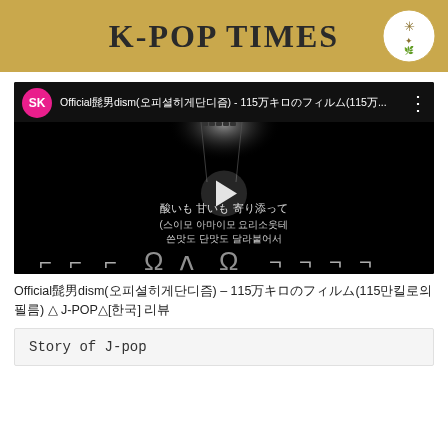K-POP TIMES
[Figure (screenshot): YouTube video thumbnail showing a dark/black background with film strip imagery, a play button in the center, Japanese and Korean lyrics text below the play button, and decorative bracket graphics at the bottom. Top bar shows SK avatar (pink circle), video title in Japanese/Korean characters, and three-dot menu.]
Official髭男dism(오피셜히게단디즘) – 115万キロのフィルム(115만킬로의 필름) △ J-POP△[한국] 리뷰
Story of J-pop